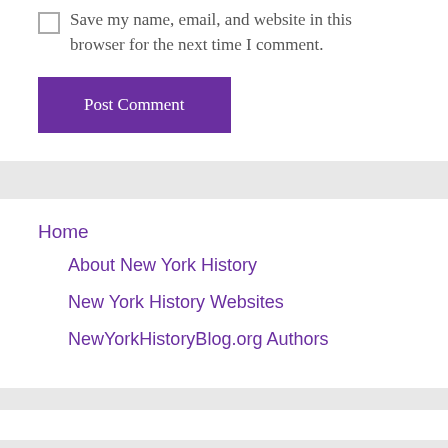Save my name, email, and website in this browser for the next time I comment.
Post Comment
Home
About New York History
New York History Websites
NewYorkHistoryBlog.org Authors